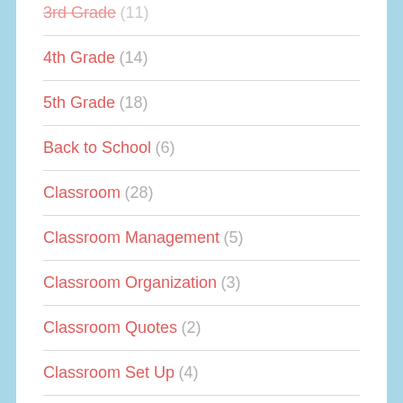3rd Grade (11)
4th Grade (14)
5th Grade (18)
Back to School (6)
Classroom (28)
Classroom Management (5)
Classroom Organization (3)
Classroom Quotes (2)
Classroom Set Up (4)
Fact Fluency (5)